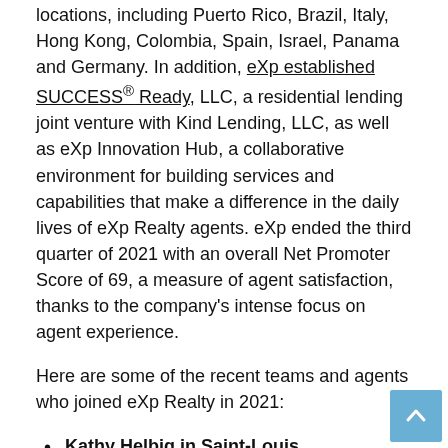locations, including Puerto Rico, Brazil, Italy, Hong Kong, Colombia, Spain, Israel, Panama and Germany. In addition, eXp established SUCCESS® Ready, LLC, a residential lending joint venture with Kind Lending, LLC, as well as eXp Innovation Hub, a collaborative environment for building services and capabilities that make a difference in the daily lives of eXp Realty agents. eXp ended the third quarter of 2021 with an overall Net Promoter Score of 69, a measure of agent satisfaction, thanks to the company's intense focus on agent experience.
Here are some of the recent teams and agents who joined eXp Realty in 2021:
Kathy Helbig in Saint-Louis — Kathy helbig and his team of 30 joined eXp Realty in April 2021. His team closed 303 deals for $ 87 million in 2020.
Chris Fritch in Minneapolis — Chris Fritch and his team of 12 joined eXp Realty in April